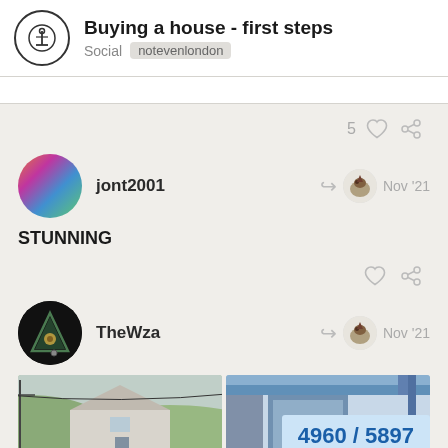Buying a house - first steps | Social | notevenlondon
5 likes
jont2001 — Nov '21
STUNNING
TheWza — Nov '21
[Figure (photo): Two house exterior photos side by side, one showing a small house with hills behind, the other showing a blue-framed entrance/porch]
4960 / 5897